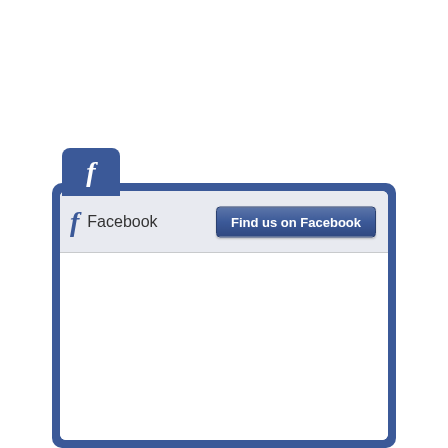[Figure (screenshot): Facebook social widget/plugin screenshot showing the Facebook 'Find us on Facebook' widget. It has a blue tab icon with the letter 'f' at the top, a blue outer frame, and an inner white widget with a light gray header bar containing the Facebook logo icon, the text 'Facebook', and a blue 'Find us on Facebook' button. The main content area below the header is empty/white.]